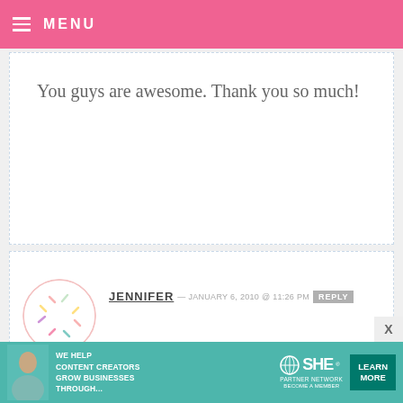MENU
You guys are awesome. Thank you so much!
JENNIFER — JANUARY 6, 2010 @ 11:26 PM REPLY
btw, what's with all of the Utahns?
AMY E. — JANUARY 6, 2010 @ 11:26 PM REPLY
Checking out your blog from Kodiak, Alaska! I love your posts!
[Figure (infographic): SHE Partner Network advertisement banner with teal background, text: WE HELP CONTENT CREATORS GROW BUSINESSES THROUGH..., SHE logo, LEARN MORE button]